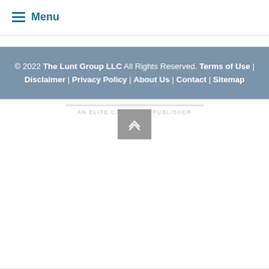≡ Menu
© 2022 The Lunt Group LLC All Rights Reserved. Terms of Use | Disclaimer | Privacy Policy | About Us | Contact | Sitemap
AN ELITE CAFEMEDIA PUBLISHER